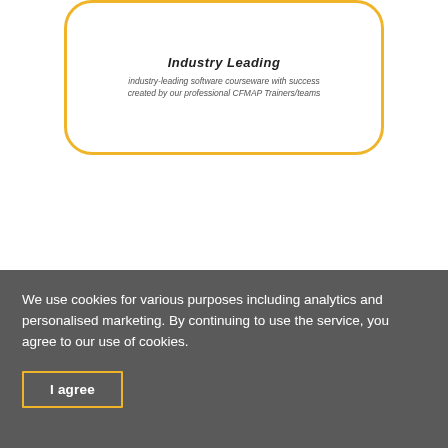[Figure (other): A rounded card with a gold/yellow border containing text about industry-leading software courseware with success created by professional CFMAP Trainers/teams]
We use cookies for various purposes including analytics and personalised marketing. By continuing to use the service, you agree to our use of cookies.
I agree